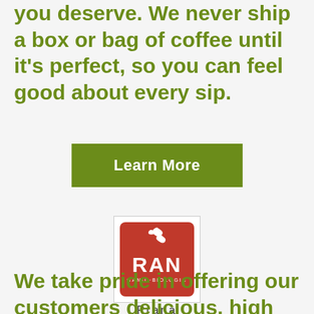you deserve. We never ship a box or bag of coffee until it's perfect, so you can feel good about every sip.
[Figure (other): Green 'Learn More' button with white bold text on olive/dark green background]
[Figure (logo): Prana brand logo: red rounded rectangle with white hummingbird silhouette and 'RAN' text in large white letters, with 'GANIC·BIOLOGIC' subtitle in white below]
Prana
We take pride in offering our customers delicious, high quality